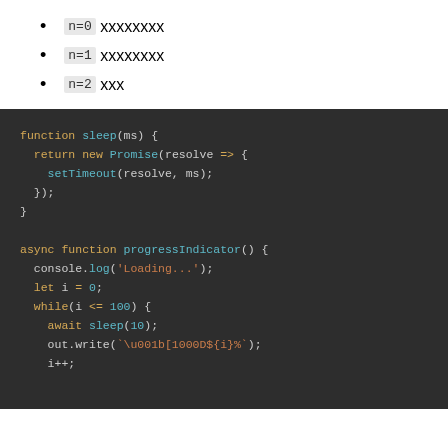n=0 xxxxxxxx
n=1 xxxxxxxx
n=2 xxx
[Figure (screenshot): Dark-themed code editor block showing JavaScript code: a sleep function returning a Promise with setTimeout, and an async progressIndicator function with console.log, let i=0, while loop, await sleep(10), out.write with escape sequence, and i++.]